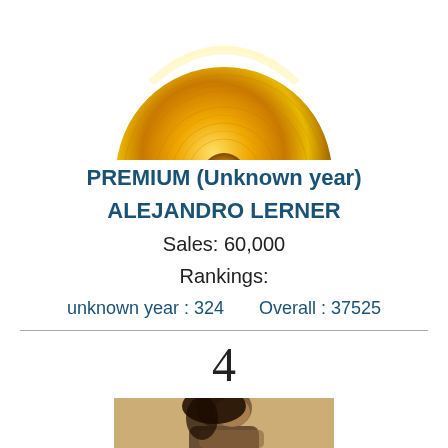[Figure (illustration): Gold vinyl record disc viewed from above, partially cropped at the top of the page]
PREMIUM (Unknown year)
ALEJANDRO LERNER
Sales: 60,000
Rankings:
unknown year : 324     Overall : 37525
4
[Figure (photo): Photo of a person with dark hair, appearing to look upward, cropped at bottom of page]